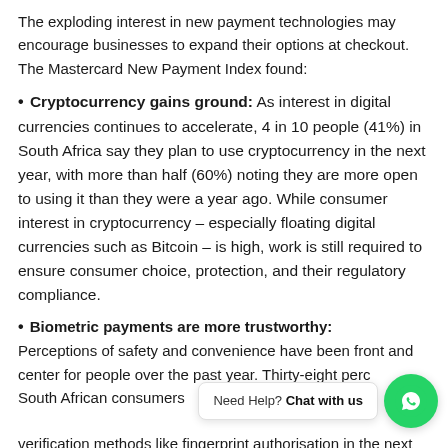The exploding interest in new payment technologies may encourage businesses to expand their options at checkout. The Mastercard New Payment Index found:
Cryptocurrency gains ground: As interest in digital currencies continues to accelerate, 4 in 10 people (41%) in South Africa say they plan to use cryptocurrency in the next year, with more than half (60%) noting they are more open to using it than they were a year ago. While consumer interest in cryptocurrency – especially floating digital currencies such as Bitcoin – is high, work is still required to ensure consumer choice, protection, and their regulatory compliance.
Biometric payments are more trustworthy: Perceptions of safety and convenience have been front and center for people over the past year. Thirty-eight percent of South African consumers noted they intend to use biometric verification methods like fingerprint authorisation in the next year. In fact, 6 in 10 consumers say they are excited